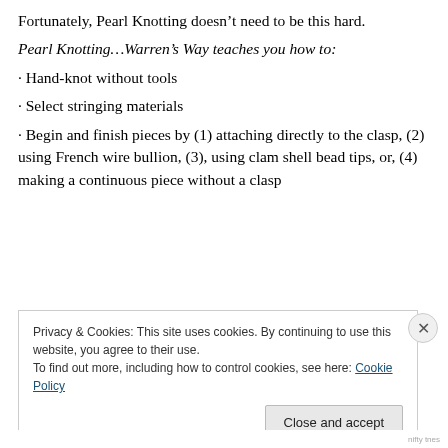Fortunately, Pearl Knotting doesn’t need to be this hard.
Pearl Knotting…Warren’s Way teaches you how to:
· Hand-knot without tools
· Select stringing materials
· Begin and finish pieces by (1) attaching directly to the clasp, (2) using French wire bullion, (3), using clam shell bead tips, or, (4) making a continuous piece without a clasp
Privacy & Cookies: This site uses cookies. By continuing to use this website, you agree to their use.
To find out more, including how to control cookies, see here: Cookie Policy